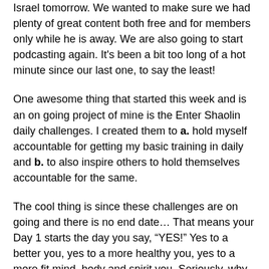Israel tomorrow. We wanted to make sure we had plenty of great content both free and for members only while he is away. We are also going to start podcasting again. It's been a bit too long of a hot minute since our last one, to say the least!
One awesome thing that started this week and is an on going project of mine is the Enter Shaolin daily challenges. I created them to a. hold myself accountable for getting my basic training in daily and b. to also inspire others to hold themselves accountable for the same.
The cool thing is since these challenges are on going and there is no end date… That means your Day 1 starts the day you say, “YES!” Yes to a better you, yes to a more healthy you, yes to a more fit mind, body and spirit you. Seriously, why would you not say YES to that? ☺
1. Daily Signup Challe...